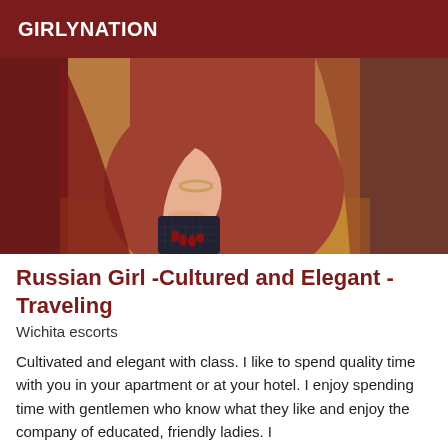GIRLYNATION
[Figure (photo): Close-up of a woman in a rust/terracotta dress holding a dark clutch bag with a bracelet on her wrist, standing in an indoor setting with marble and warm-lit background.]
Russian Girl -Cultured and Elegant - Traveling
Wichita escorts
Cultivated and elegant with class. I like to spend quality time with you in your apartment or at your hotel. I enjoy spending time with gentlemen who know what they like and enjoy the company of educated, friendly ladies. I